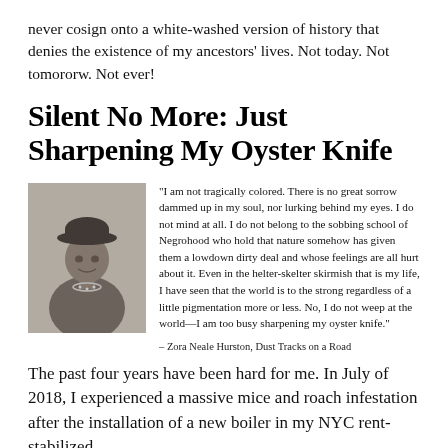never cosign onto a white-washed version of history that denies the existence of my ancestors' lives. Not today. Not tomororw. Not ever!
Silent No More: Just Sharpening My Oyster Knife
[Figure (photo): Black and white photograph of Zora Neale Hurston wearing a hat, smiling, with a necklace.]
“I am not tragically colored. There is no great sorrow dammed up in my soul, nor lurking behind my eyes. I do not mind at all. I do not belong to the sobbing school of Negrohood who hold that nature somehow has given them a lowdown dirty deal and whose feelings are all hurt about it. Even in the helter-skelter skirmish that is my life, I have seen that the world is to the strong regardless of a little pigmentation more or less. No, I do not weep at the world—I am too busy sharpening my oyster knife.”
– Zora Neale Hurston, Dust Tracks on a Road
The past four years have been hard for me. In July of 2018, I experienced a massive mice and roach infestation after the installation of a new boiler in my NYC rent-stabilized